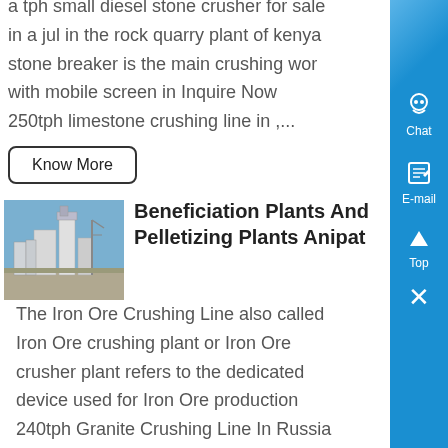a tph small diesel stone crusher for sale in a jul in the rock quarry plant of kenya stone breaker is the main crushing wor with mobile screen in Inquire Now 250tph limestone crushing line in ,...
Know More
[Figure (photo): Industrial beneficiation plant with silos and processing equipment outdoors against a blue sky]
Beneficiation Plants And Pelletizing Plants Anipat
The Iron Ore Crushing Line also called Iron Ore crushing plant or Iron Ore crusher plant refers to the dedicated device used for Iron Ore production 240tph Granite Crushing Line In Russia Granite Crushing Line In Russia is mainly composed of crushing equipment, vibrating feeder, screening